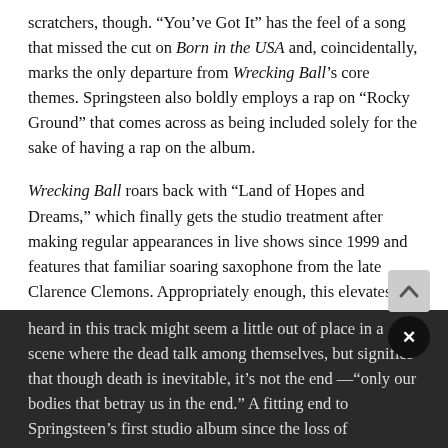scratchers, though. “You’ve Got It” has the feel of a song that missed the cut on Born in the USA and, coincidentally, marks the only departure from Wrecking Ball’s core themes. Springsteen also boldly employs a rap on “Rocky Ground” that comes across as being included solely for the sake of having a rap on the album.
Wrecking Ball roars back with “Land of Hopes and Dreams,” which finally gets the studio treatment after making regular appearances in live shows since 1999 and features that familiar soaring saxophone from the late Clarence Clemons. Appropriately enough, this elevates the album further into a spiritual realm. It closes in a peculiar, yet optimistic fashion with “We are Alive” that uses the riff from Johnny Cash’s “Ring of Fire.” The blissful whistling heard in this track might seem a little out of place in a scene where the dead talk among themselves, but signifies that though death is inevitable, it’s not the end —“only our bodies that betray us in the end.” A fitting end to Springsteen’s first studio album since the loss of